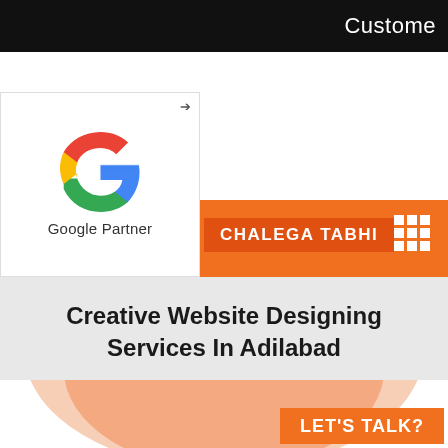Custome
[Figure (logo): Google Partner badge with Google G logo and text 'Google Partner']
Creative Website Designing Services In Adilabad
Home » Category » Creative Website Designing Services in Adilabad
LET'S TALK?